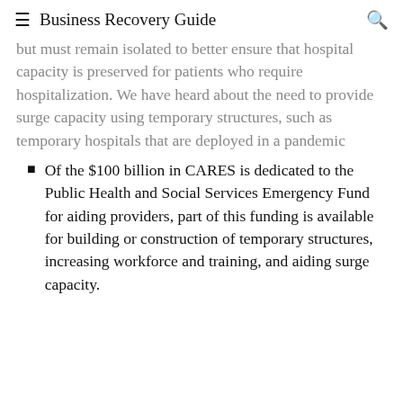≡ Business Recovery Guide 🔍
but must remain isolated to better ensure that hospital capacity is preserved for patients who require hospitalization. We have heard about the need to provide surge capacity using temporary structures, such as temporary hospitals that are deployed in a pandemic
Of the $100 billion in CARES is dedicated to the Public Health and Social Services Emergency Fund for aiding providers, part of this funding is available for building or construction of temporary structures, increasing workforce and training, and aiding surge capacity.